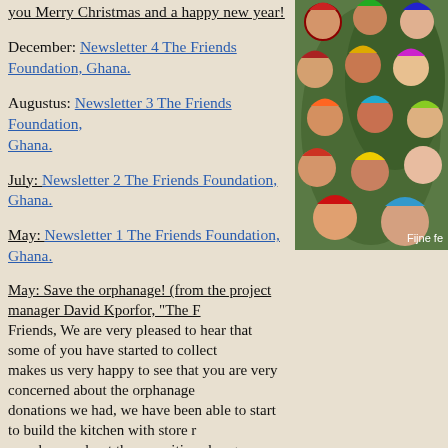you Merry Christmas and a happy new year!
December: Newsletter 4 The Friends Foundation, Ghana.
Augustus: Newsletter 3 The Friends Foundation, Ghana.
July: Newsletter 2 The Friends Foundation, Ghana.
May: Newsletter 1 The Friends Foundation, Ghana.
May: Save the orphanage! (from the project manager David Kporfor, "The F... Friends, We are very pleased to hear that some of you have started to collect... makes us very happy to see that you are very concerned about the orphanage... donations we had, we have been able to start to build the kitchen with store r... very happy about these positive changes. They are already using the compou... kitchen. Therefore we trust that the orphanage will not be closed down. Eve... inspect the living place of the children will see that we try our best to reach t... have all the needed documents to operate as a non-governmental organizatio...
[Figure (photo): Group photo of people wearing colorful Christmas hats, with caption 'Fijne fe...' visible at bottom right]